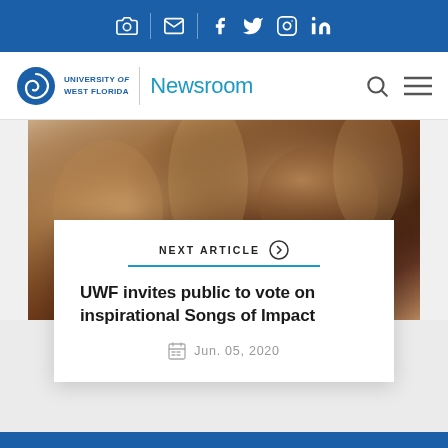University of West Florida Newsroom — social icons: camera, mail, facebook, twitter, instagram, linkedin
[Figure (screenshot): UWF Newsroom website header with social media icons bar and navigation bar with UWF logo and Newsroom title]
[Figure (photo): Close-up photo of hands/violin or musical instrument, warm brown tones, blurred background]
NEXT ARTICLE
UWF invites public to vote on inspirational Songs of Impact
Jun. 05, 2020